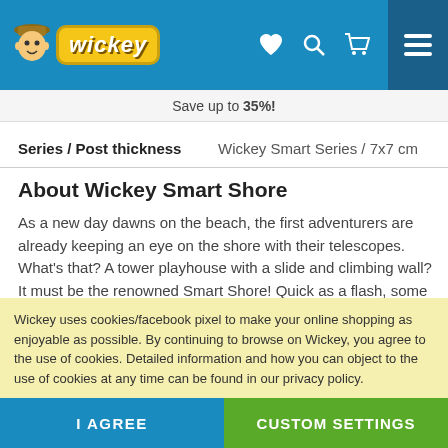[Figure (logo): Wickey logo with mascot character on blue header bar with heart, search, and cart icons]
Save up to 35%!
| Series / Post thickness | Wickey Smart Series / 7x7 cm |
| --- | --- |
About Wickey Smart Shore
As a new day dawns on the beach, the first adventurers are already keeping an eye on the shore with their telescopes. What's that? A tower playhouse with a slide and climbing wall? It must be the renowned Smart Shore! Quick as a flash, some of the adventurers climb the beach house with the help of the climbing holds and the climbing wall. At the counter, you can get refreshing lemonade,
Wickey uses cookies/facebook pixel to make your online shopping as enjoyable as possible. By continuing to browse on Wickey, you agree to the use of cookies. Detailed information and how you can object to the use of cookies at any time can be found in our privacy policy.
I AGREE
CUSTOM SETTINGS